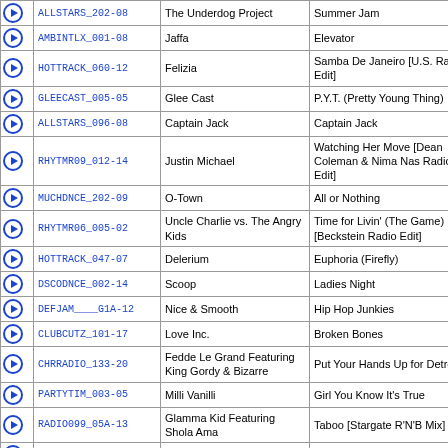|  | Code | Artist | Title |
| --- | --- | --- | --- |
| ▶ | ALLSTARS_202-08 | The Underdog Project | Summer Jam |
| ▶ | AMBINTLX_001-08 | Jaffa | Elevator |
| ▶ | HOTTRACK_060-12 | Felizia | Samba De Janeiro [U.S. Radio Edit] |
| ▶ | GLEECAST_005-05 | Glee Cast | P.Y.T. (Pretty Young Thing) |
| ▶ | ALLSTARS_096-08 | Captain Jack | Captain Jack |
| ▶ | RHYTMR09_012-14 | Justin Michael | Watching Her Move [Dean Coleman & Nima Nas Radio Edit] |
| ▶ | MUCHDNCE_202-09 | O-Town | All or Nothing |
| ▶ | RHYTMR06_005-02 | Uncle Charlie vs. The Angry Kids | Time for Livin' (The Game) [Beckstein Radio Edit] |
| ▶ | HOTTRACK_047-07 | Delerium | Euphoria (Firefly) |
| ▶ | DSCODNCE_002-14 | Scoop | Ladies Night |
| ▶ | DEFJAM____G1A-12 | Nice & Smooth | Hip Hop Junkies |
| ▶ | CLUBCUTZ_101-17 | Love Inc. | Broken Bones |
| ▶ | CHRRADIO_133-20 | Fedde Le Grand Featuring King Gordy & Bizarre | Put Your Hands Up for Detroit |
| ▶ | PARTYTIM_003-05 | Milli Vanilli | Girl You Know It's True |
| ▶ | RADIO099_05A-13 | Glamma Kid Featuring Shola Ama | Taboo [Stargate R'N'B Mix] |
| ▶ | 2UNLIMTD_GH1-14 | 2 Unlimited | Here I Go |
| ▶ | PARTYTIM_004-20 | Limbo Leaders | Follow the Leader |
| ▶ | RADIO200_04A-10 | Shaft | Mambo Italiano |
| ▶ | HOTTRACK_002-10 | Spaghetti Surfers | Misirlou - Theme From Pulp Fiction [Radio Version] |